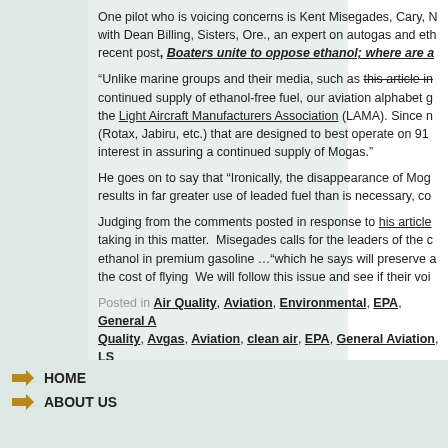One pilot who is voicing concerns is Kent Misegades, Cary, N... with Dean Billing, Sisters, Ore., an expert on autogas and eth... recent post, Boaters unite to oppose ethanol; where are a...
“Unlike marine groups and their media, such as this article in... continued supply of ethanol-free fuel, our aviation alphabet g... the Light Aircraft Manufacturers Association (LAMA). Since n... (Rotax, Jabiru, etc.) that are designed to best operate on 91 ... interest in assuring a continued supply of Mogas.”
He goes on to say that “Ironically, the disappearance of Mog... results in far greater use of leaded fuel than is necessary, co...
Judging from the comments posted in response to his article... taking in this matter.  Misegades calls for the leaders of the c... ethanol in premium gasoline …“which he says will preserve a... the cost of flying  We will follow this issue and see if their voi...
Posted in Air Quality, Aviation, Environmental, EPA, General A... Quality, Avgas, Aviation, clean air, EPA, General Aviation, LS...
HOME
ABOUT US